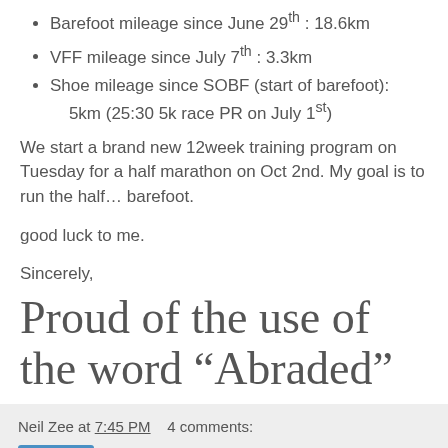Barefoot mileage since June 29th : 18.6km
VFF mileage since July 7th : 3.3km
Shoe mileage since SOBF (start of barefoot): 5km (25:30 5k race PR on July 1st)
We start a brand new 12week training program on Tuesday for a half marathon on Oct 2nd. My goal is to run the half… barefoot.
good luck to me.
Sincerely,
Proud of the use of the word “Abraded”
Neil Zee at 7:45 PM   4 comments: